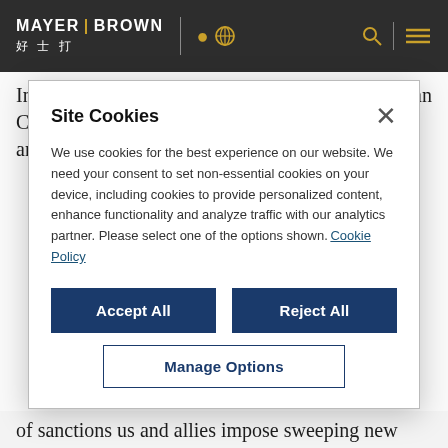MAYER BROWN 好士打
In an address to the Ukrainian People, the European Council President, summarizing recent sanctions announcements, opened the door for
Site Cookies
We use cookies for the best experience on our website. We need your consent to set non-essential cookies on your device, including cookies to provide personalized content, enhance functionality and analyze traffic with our analytics partner. Please select one of the options shown. Cookie Policy
Accept All
Reject All
Manage Options
of sanctions us and allies impose sweeping new